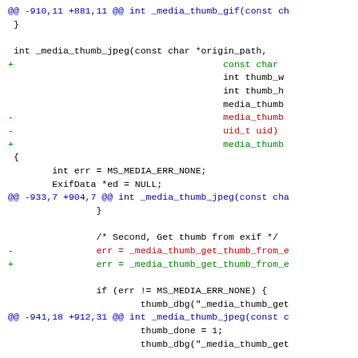[Figure (screenshot): A code diff view showing changes to C source code for media thumbnail functions. Lines prefixed with '+' are shown in green (additions), lines prefixed with '-' are shown in red (deletions), hunk headers starting with '@@' are shown in blue, and unchanged context lines are shown in black.]